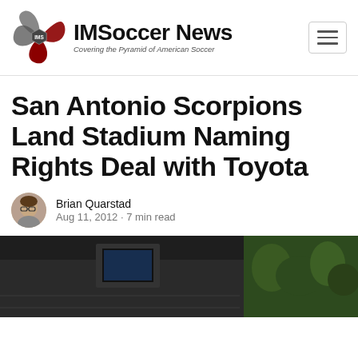IMSoccer News — Covering the Pyramid of American Soccer
San Antonio Scorpions Land Stadium Naming Rights Deal with Toyota
Brian Quarstad
Aug 11, 2012 · 7 min read
[Figure (photo): Aerial or ground-level photograph of a soccer stadium, partially visible at the bottom of the page]